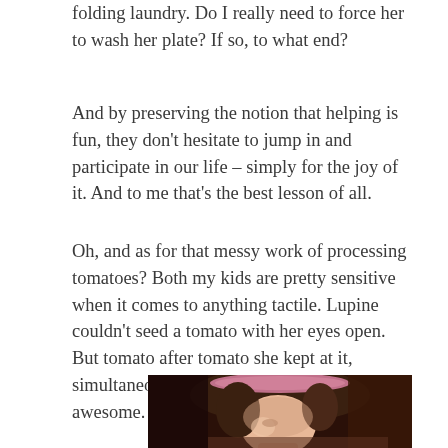folding laundry. Do I really need to force her to wash her plate? If so, to what end?
And by preserving the notion that helping is fun, they don't hesitate to jump in and participate in our life – simply for the joy of it. And to me that's the best lesson of all.
Oh, and as for that messy work of processing tomatoes? Both my kids are pretty sensitive when it comes to anything tactile. Lupine couldn't seed a tomato with her eyes open. But tomato after tomato she kept at it, simultaneously amused and disgusted. It was awesome.
[Figure (photo): A young girl with a pink headband, head bowed downward, photographed from above in a dark, warm-toned setting. She appears focused on a task in front of her.]